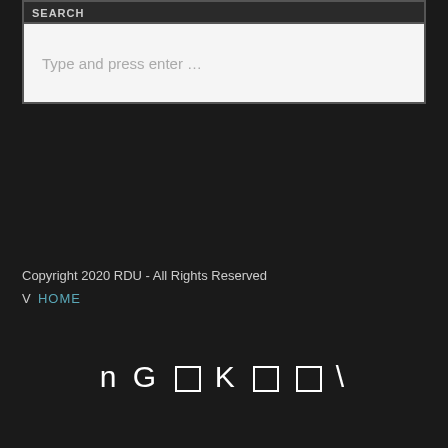SEARCH
Type and press enter …
Copyright 2020 RDU - All Rights Reserved
V  HOME
n G □ K □ □ \